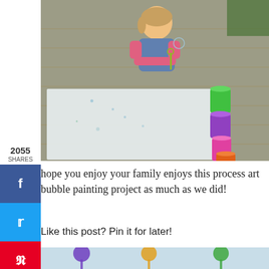[Figure (photo): Child blowing bubbles over white paper on a wooden deck, with colorful cups (green, purple, pink, orange, yellow-green) lined up in a row]
hope you enjoy your family enjoys this process art bubble painting project as much as we did!
Like this post? Pin it for later!
[Figure (photo): Bottom portion of a pin-it image showing colorful bubble wands on a light background]